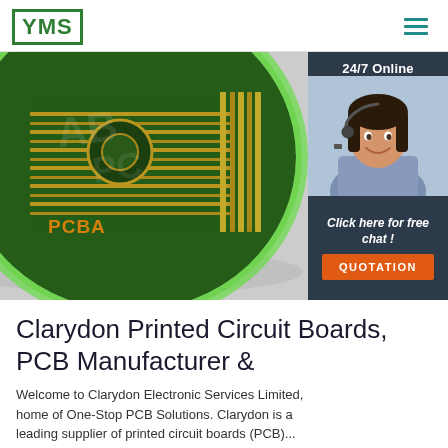YMS logo and navigation menu
[Figure (photo): Close-up photo of a circular green PCB (printed circuit board) with gold traces and connectors, partially cropped, on a light grey background. To the right is a chat widget showing '24/7 Online' with a customer service woman wearing a headset, smiling. Below the widget are the text 'Click here for free chat!' and an orange 'QUOTATION' button.]
PCBA
Clarydon Printed Circuit Boards, PCB Manufacturer &
Welcome to Clarydon Electronic Services Limited, home of One-Stop PCB Solutions. Clarydon is a leading supplier of printed circuit boards (PCB)...